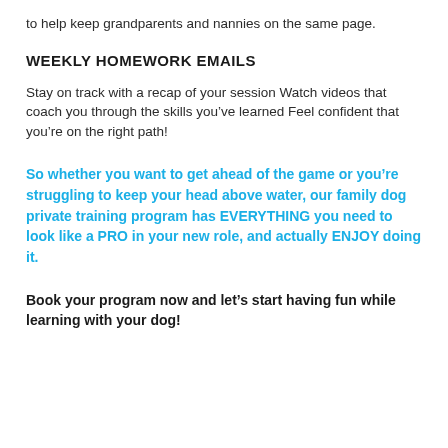to help keep grandparents and nannies on the same page.
WEEKLY HOMEWORK EMAILS
Stay on track with a recap of your session Watch videos that coach you through the skills you’ve learned Feel confident that you’re on the right path!
So whether you want to get ahead of the game or you’re struggling to keep your head above water, our family dog private training program has EVERYTHING you need to look like a PRO in your new role, and actually ENJOY doing it.
Book your program now and let’s start having fun while learning with your dog!